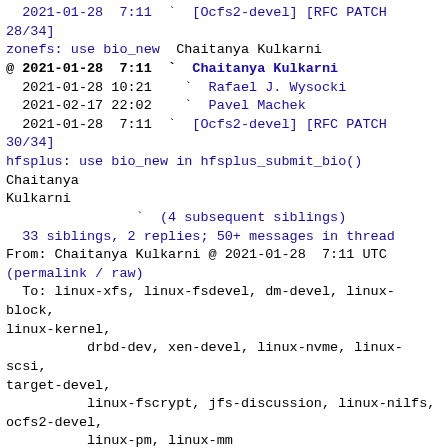2021-01-28  7:11  `  [Ocfs2-devel] [RFC PATCH 28/34] zonefs: use bio_new  Chaitanya Kulkarni
@ 2021-01-28  7:11  `  Chaitanya Kulkarni
    2021-01-28 10:21    `  Rafael J. Wysocki
    2021-02-17 22:02    `  Pavel Machek
    2021-01-28  7:11  `  [Ocfs2-devel] [RFC PATCH 30/34] hfsplus: use bio_new in hfsplus_submit_bio()  Chaitanya Kulkarni
                `  (4 subsequent siblings)
  33 siblings, 2 replies; 50+ messages in thread
From: Chaitanya Kulkarni @ 2021-01-28  7:11 UTC
(permalink / raw)
  To: linux-xfs, linux-fsdevel, dm-devel, linux-block, linux-kernel,
          drbd-dev, xen-devel, linux-nvme, linux-scsi, target-devel,
          linux-fscrypt, jfs-discussion, linux-nilfs, ocfs2-devel,
          linux-pm, linux-mm
  Cc: shaggy, sergey.senozhatsky.work, snitzer, tiwai, djwong,
          gustavoars, pavel, alex.shi, agk, naohiro.aota, sagi, osandov,
          ebiggers, ngupta, len.brown, chaitanya.kulkarni, konrad.wilk,
          hare, ming.lei, viro, jefflexu, jaegeuk, konishi.ryusuke,
          bvanassche, axboe, damien.lemoal, tytso, rjw, philipp.reisner,
          minchan, tj, lars.ellenberg, ith, asml.silence,